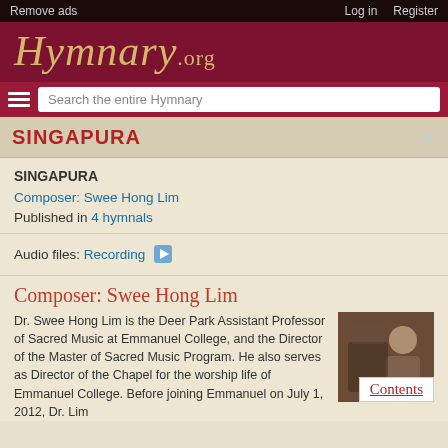Remove ads | Log in | Register
[Figure (logo): Hymnary.org logo with cursive gold text on dark red background]
SINGAPURA
SINGAPURA
Composer: Swee Hong Lim
Published in 4 hymnals
Audio files: Recording ▶
Composer: Swee Hong Lim
Dr. Swee Hong Lim is the Deer Park Assistant Professor of Sacred Music at Emmanuel College, and the Director of the Master of Sacred Music Program. He also serves as Director of the Chapel for the worship life of Emmanuel College. Before joining Emmanuel on July 1, 2012, Dr. Lim
[Figure (photo): Portrait photo of Swee Hong Lim]